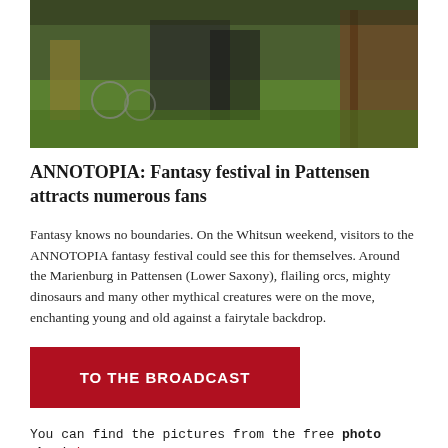[Figure (photo): Outdoor fantasy festival scene at Marienburg in Pattensen, showing people in costumes on a grassy area with wooden structures in the background]
ANNOTOPIA: Fantasy festival in Pattensen attracts numerous fans
Fantasy knows no boundaries. On the Whitsun weekend, visitors to the ANNOTOPIA fantasy festival could see this for themselves. Around the Marienburg in Pattensen (Lower Saxony), flailing orcs, mighty dinosaurs and many other mythical creatures were on the move, enchanting young and old against a fairytale backdrop.
TO THE BROADCAST
You can find the pictures from the free photo shoot here.